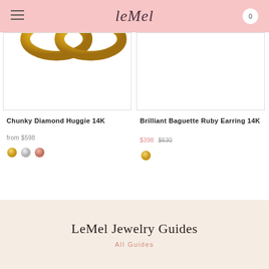leMel  0
[Figure (photo): Product image of Chunky Diamond Huggie 14K earring - gold hoop partially visible at top]
Chunky Diamond Huggie 14K
from $598
[Figure (photo): Color swatches: yellow gold, white gold, rose gold]
[Figure (photo): Product image of Brilliant Baguette Ruby Earring 14K - partially visible]
Brilliant Baguette Ruby Earring 14K
$398  $630
[Figure (photo): Color swatch: yellow gold]
LeMel Jewelry Guides
All Guides